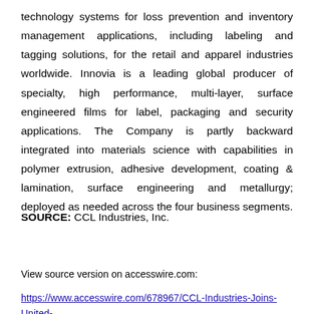technology systems for loss prevention and inventory management applications, including labeling and tagging solutions, for the retail and apparel industries worldwide. Innovia is a leading global producer of specialty, high performance, multi-layer, surface engineered films for label, packaging and security applications. The Company is partly backward integrated into materials science with capabilities in polymer extrusion, adhesive development, coating & lamination, surface engineering and metallurgy; deployed as needed across the four business segments.
SOURCE: CCL Industries, Inc.
View source version on accesswire.com:
https://www.accesswire.com/678967/CCL-Industries-Joins-United-